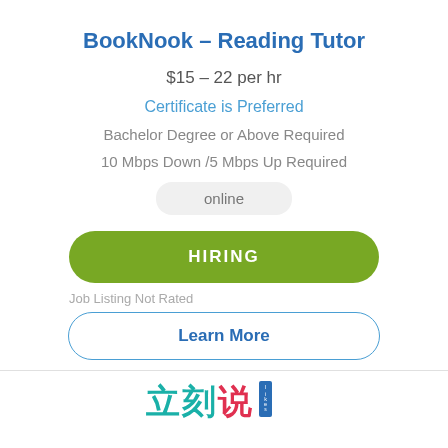BookNook – Reading Tutor
$15 – 22 per hr
Certificate is Preferred
Bachelor Degree or Above Required
10 Mbps Down /5 Mbps Up Required
online
HIRING
Job Listing Not Rated
Learn More
[Figure (logo): 立刻说 likeshuo watermark logo in teal and red Chinese characters with English text]